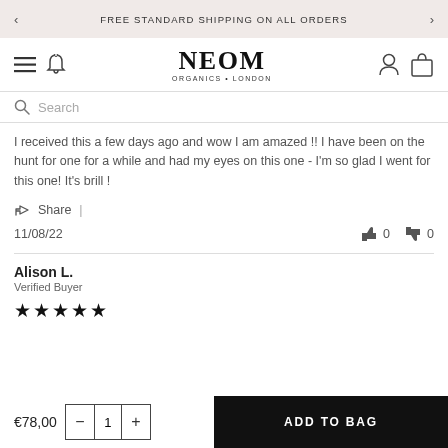FREE STANDARD SHIPPING ON ALL ORDERS
[Figure (logo): NEOM ORGANICS · LONDON logo with navigation icons (hamburger menu, bell, user, bag)]
Search
I received this a few days ago and wow I am amazed !! I have been on the hunt for one for a while and had my eyes on this one - I'm so glad I went for this one! It's brill !
Share |
11/08/22   👍 0   👎 0
Alison L.
Verified Buyer
★★★★★
€78,00   − 1 +   ADD TO BAG